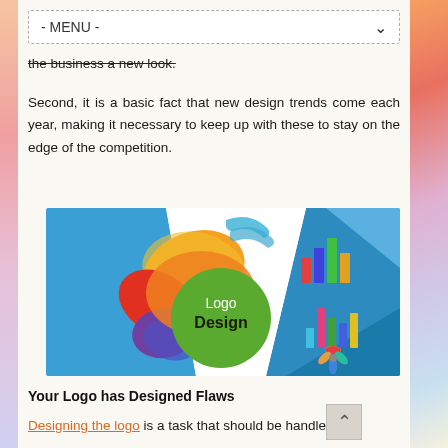- MENU -
the business a new look.
Second, it is a basic fact that new design trends come each year, making it necessary to keep up with these to stay on the edge of the competition.
[Figure (illustration): Logo Design illustration showing colorful overlapping paint-drop shapes (orange, yellow, red, purple) forming a design on a green circle labeled 'Logo Design', with blue geometric background and three small logo icons on the right side (bar chart logos and a flower/pinwheel icon).]
Your Logo has Designed Flaws
Designing the logo is a task that should be handled by